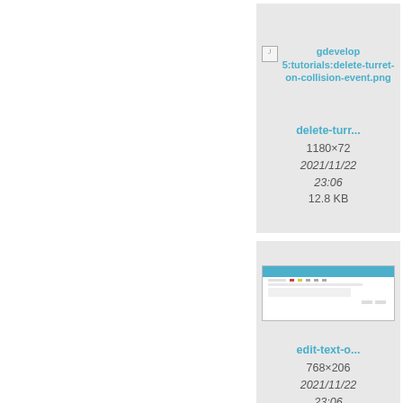[Figure (screenshot): File listing card: broken image icon with link 'gdevelop 5:tutorials:delete-turret-on-collision-event.png', filename 'delete-turr...', size 1180×72, date 2021/11/22 23:06, 12.8 KB]
[Figure (screenshot): File listing card (partially visible): broken image icon with partial link 'gd... 5:tuto... es... tu... ever...', filename 'destro...', size 1160×..., date 2021/..., 23:..., 26....]
[Figure (screenshot): File listing card: thumbnail screenshot of a UI window (blue title bar), filename 'edit-text-o...', size 768×206, date 2021/11/22 23:06, 8.7 KB]
[Figure (screenshot): File listing card (partially visible): broken image icon with partial link 'gd... 5:tuto... mpty... _edit...', filename 'empty...', size 885×..., date 2021/..., 23:..., 42...]